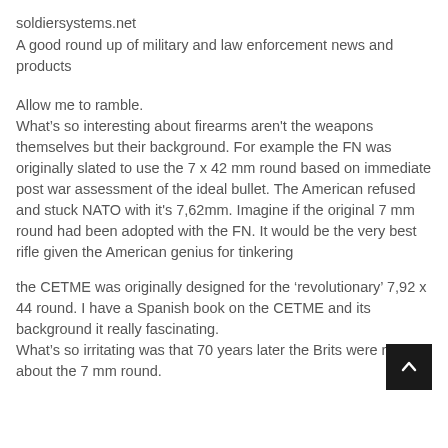soldiersystems.net
A good round up of military and law enforcement news and products
Allow me to ramble.
What’s so interesting about firearms aren't the weapons themselves but their background. For example the FN was originally slated to use the 7 x 42 mm round based on immediate post war assessment of the ideal bullet. The American refused and stuck NATO with it's 7,62mm. Imagine if the original 7 mm round had been adopted with the FN. It would be the very best rifle given the American genius for tinkering
the CETME was originally designed for the ‘revolutionary’ 7,92 x 44 round. I have a Spanish book on the CETME and its background it really fascinating.
What’s so irritating was that 70 years later the Brits were right about the 7 mm round.